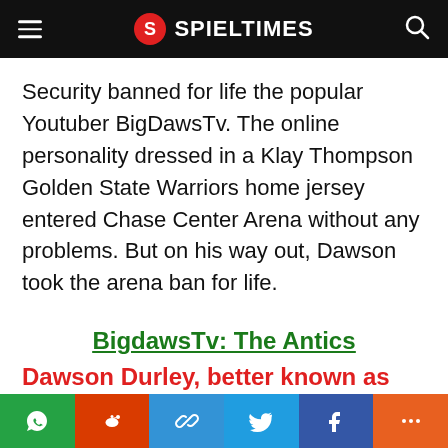SPIELTIMES
Security banned for life the popular Youtuber BigDawsTv. The online personality dressed in a Klay Thompson Golden State Warriors home jersey entered Chase Center Arena without any problems. But on his way out, Dawson took the arena ban for life.
BigdawsTv: The Antics
Dawson Durley, better known as BigDawsTv, had a
Share buttons: WhatsApp, Reddit, Link, Twitter, Facebook, More